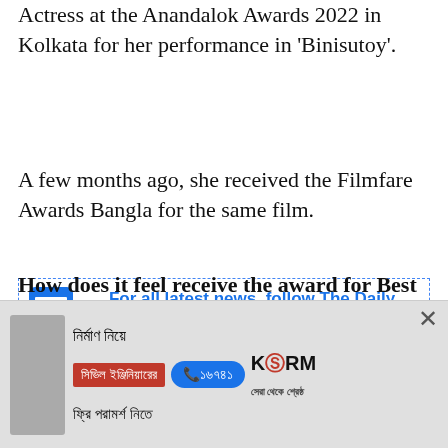Actress at the Anandalok Awards 2022 in Kolkata for her performance in 'Binisutoy'.
A few months ago, she received the Filmfare Awards Bangla for the same film.
[Figure (other): Google News subscription banner with Google News icon and link text: For all latest news, follow The Daily Star's Google News channel.]
The star recently spoke to The Daily Star about her experience with the film and upcoming projects.
How does it feel receive the award for Best
[Figure (other): Advertisement banner in Bengali for civil engineering consultation. Text: নির্মাণ নিয়ে, সিভিল ইঞ্জিনিয়ারের, ফ্রি পরামর্শ নিতে. Phone: ১৬৭৪১. Logo: KSRM সেরা থেকে শ্রেষ্ঠ]